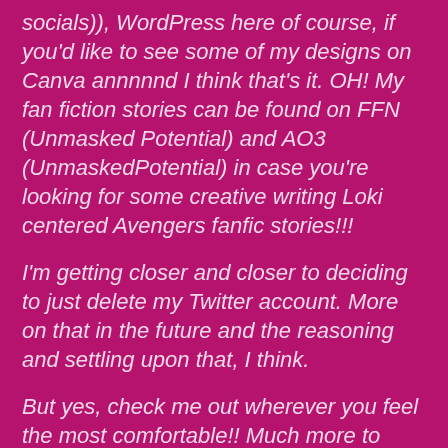socials)), WordPress here of course, if you'd like to see some of my designs on Canva annnnnd I think that's it. OH! My fan fiction stories can be found on FFN (Unmasked Potential) and AO3 (UnmaskedPotential) in case you're looking for some creative writing Loki centered Avengers fanfic stories!!!
I'm getting closer and closer to deciding to just delete my Twitter account. More on that in the future and the reasoning and settling upon that, I think.
But yes, check me out wherever you feel the most comfortable!! Much more to come on here soon. Wishing you all a blessed week and good rest of your day. Sending light and love. xxx Thank youuuu